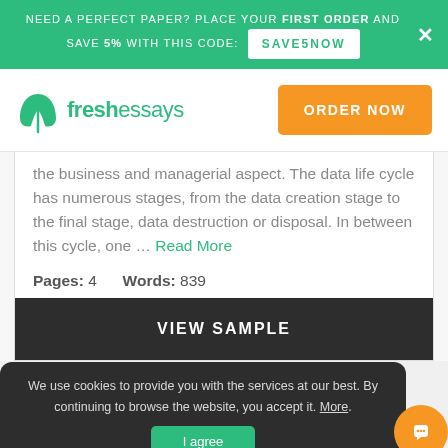NEED A PERFECT PAPER? PLACE YOUR FIRST ORDER AND SAVE 5% WITH THIS CODE: SAVE5NOW
[Figure (logo): Fresh Essays green leaf logo with text 'freshessays']
the business and managerial aspect. The data life cycle has numerous stages, from the data creation stage to the final stage, data destruction or disposal. In between this cycle, one … Read More
Pages: 4   Words: 839
VIEW SAMPLE
We use cookies to provide you with the services at our best. By continuing to browse the website, you accept it. More.
I agree